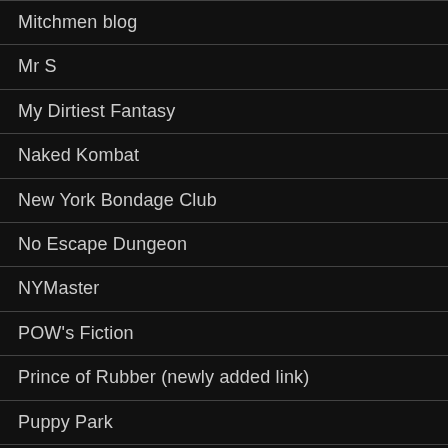Mitchmen blog
Mr S
My Dirtiest Fantasy
Naked Kombat
New York Bondage Club
No Escape Dungeon
NYMaster
POW's Fiction
Prince of Rubber (newly added link)
Puppy Park
Raw Dads (newly added link)
Rope and tape